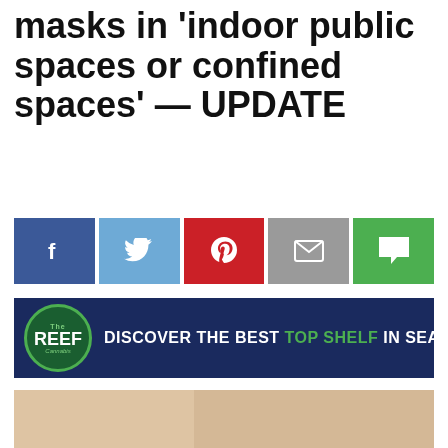masks in 'indoor public spaces or confined spaces' — UPDATE
[Figure (infographic): Social media share buttons: Facebook (blue), Twitter (light blue), Pinterest (red), Email (gray), Comment (green)]
[Figure (infographic): Advertisement banner for The Reef Cannabis. Dark navy background with circular green logo on left. Text reads: DISCOVER THE BEST TOP SHELF IN SEATTLE, where TOP SHELF is in green and the rest is white.]
[Figure (photo): Photo of a female bartender or service worker wearing a blue face mask and red bandana, with visible tattoos on her arm, standing at what appears to be a bar counter with a tablet.]